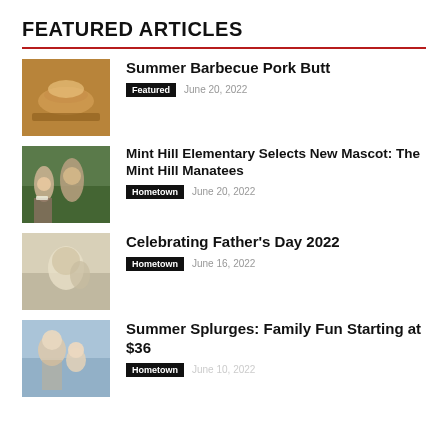FEATURED ARTICLES
Summer Barbecue Pork Butt | Featured | June 20, 2022
Mint Hill Elementary Selects New Mascot: The Mint Hill Manatees | Hometown | June 20, 2022
Celebrating Father's Day 2022 | Hometown | June 16, 2022
Summer Splurges: Family Fun Starting at $36 | Hometown | June 10, 2022